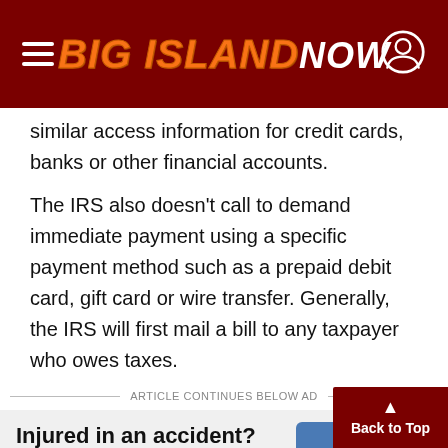BIG ISLAND NOW
similar access information for credit cards, banks or other financial accounts.
The IRS also doesn't call to demand immediate payment using a specific payment method such as a prepaid debit card, gift card or wire transfer. Generally, the IRS will first mail a bill to any taxpayer who owes taxes.
ARTICLE CONTINUES BELOW AD
Injured in an accident? Call the Law Offices of Jan K. Apo now, they can help you!
LEARN M...